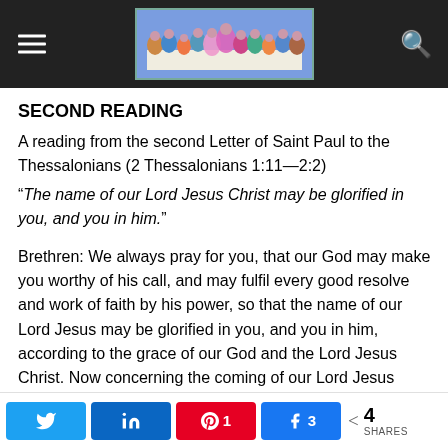Navigation header with hamburger menu, Last Supper image, and search icon
SECOND READING
A reading from the second Letter of Saint Paul to the Thessalonians (2 Thessalonians 1:11—2:2)
“The name of our Lord Jesus Christ may be glorified in you, and you in him.”
Brethren: We always pray for you, that our God may make you worthy of his call, and may fulfil every good resolve and work of faith by his power, so that the name of our Lord Jesus may be glorified in you, and you in him, according to the grace of our God and the Lord Jesus Christ. Now concerning the coming of our Lord Jesus Christ and our assembling to meet him, we beg you, brethren, not to be
Social share bar: Twitter, LinkedIn, Pinterest 1, Facebook 3, Share 4 SHARES